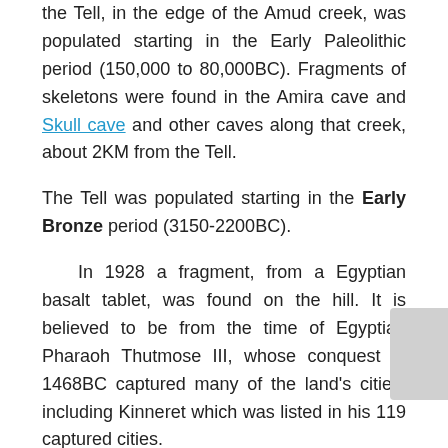the Tell, in the edge of the Amud creek, was populated starting in the Early Paleolithic period (150,000 to 80,000BC). Fragments of skeletons were found in the Amira cave and Skull cave and other caves along that creek, about 2KM from the Tell.
The Tell was populated starting in the Early Bronze period (3150-2200BC).
In 1928 a fragment, from a Egyptian basalt tablet, was found on the hill. It is believed to be from the time of Egyptian Pharaoh Thutmose III, whose conquest in 1468BC captured many of the land's cities, including Kinneret which was listed in his 119 captured cities.
The Tel continued as a city until the Hellenistic period (4th-1st century BC), and then was relocated to Capernaum, following a common pattern of